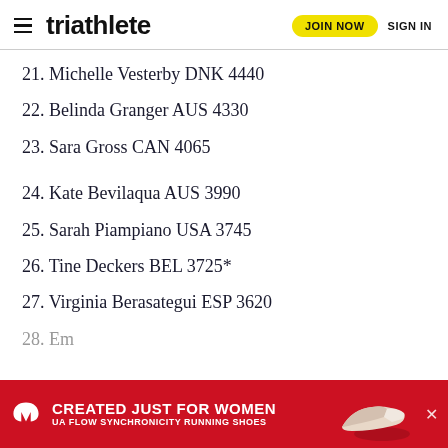triathlete | JOIN NOW | SIGN IN
21. Michelle Vesterby DNK 4440
22. Belinda Granger AUS 4330
23. Sara Gross CAN 4065
24. Kate Bevilaqua AUS 3990
25. Sarah Piampiano USA 3745
26. Tine Deckers BEL 3725*
27. Virginia Berasategui ESP 3620
28. Em…
[Figure (infographic): Under Armour advertisement banner: red background with UA logo, text 'CREATED JUST FOR WOMEN' and 'UA FLOW SYNCHRONICITY RUNNING SHOES', with a shoe image and close button]